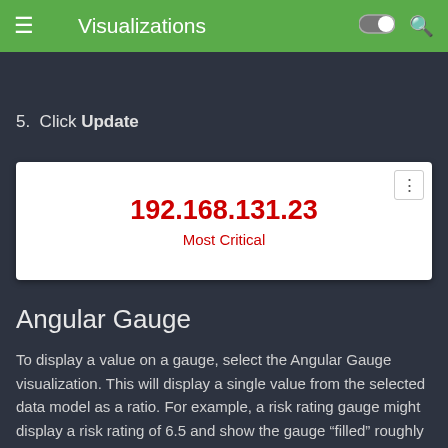Visualizations
5. Click Update
[Figure (infographic): Widget card showing IP address 192.168.131.23 labeled Most Critical in red text on white background with three-dot menu button]
Angular Gauge
To display a value on a gauge, select the Angular Gauge visualization. This will display a single value from the selected data model as a ratio. For example, a risk rating gauge might display a risk rating of 6.5 and show the gauge "filled" roughly two-thirds, since risk rating is a number out of 10.